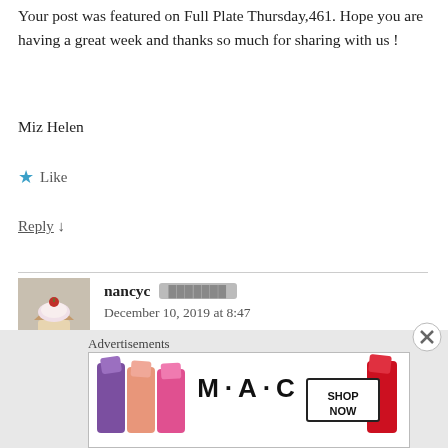Your post was featured on Full Plate Thursday,461. Hope you are having a great week and thanks so much for sharing with us !
Miz Helen
★ Like
Reply ↓
nancyc  December 10, 2019 at 8:47
Thanks so much, Mia Helen! 🙂
Advertisements